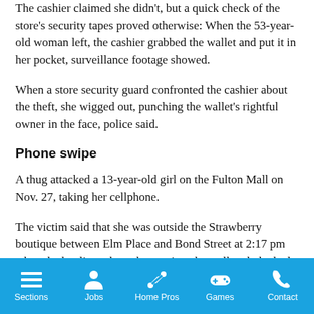The cashier claimed she didn't, but a quick check of the store's security tapes proved otherwise: When the 53-year-old woman left, the cashier grabbed the wallet and put it in her pocket, surveillance footage showed.
When a store security guard confronted the cashier about the theft, she wigged out, punching the wallet's rightful owner in the face, police said.
Phone swipe
A thug attacked a 13-year-old girl on the Fulton Mall on Nov. 27, taking her cellphone.
The victim said that she was outside the Strawberry boutique between Elm Place and Bond Street at 2:17 pm when the hooligan threw her against the wall and plucked the phone from her pocket.
Sections  Jobs  Home Pros  Games  Contact